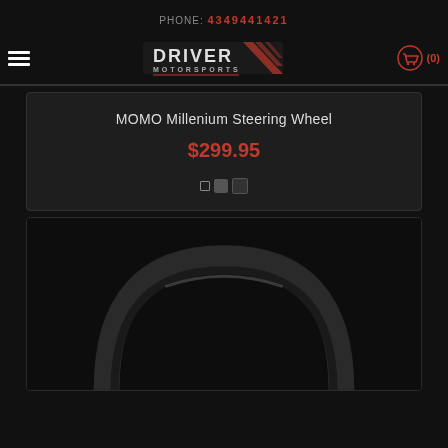PHONE: 4349441421
[Figure (logo): Driver Motorsports logo with stylized text and checkered flag graphic]
[Figure (other): Shopping cart icon with item count (0)]
MOMO Millenium Steering Wheel
$299.95
[Figure (photo): MOMO Millenium Steering Wheel product photo showing top arc of a black steering wheel on dark background]